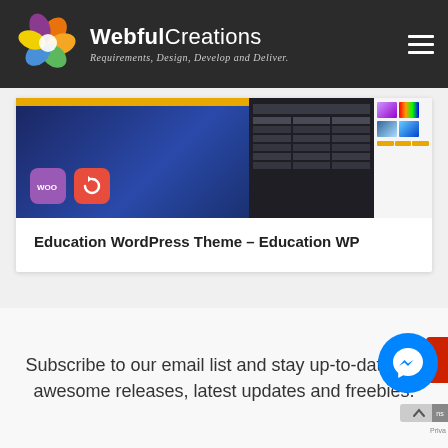WebfulCreations — Requirements, Design, Develop and Deliver.
[Figure (screenshot): Website screenshot showing an Education WordPress Theme banner with WooCommerce icons, a dark panel with table layout, and a right panel with product images]
Education WordPress Theme – Education WP
Subscribe to our email list and stay up-to-date our awesome releases, latest updates and freebies.